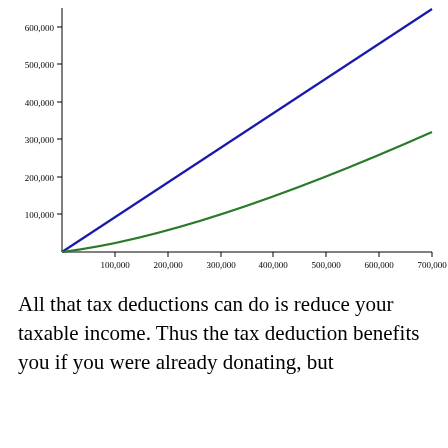[Figure (continuous-plot): Two lines plotted from origin to upper right. Blue line is linear (steeper slope), green line curves slightly below it. Y-axis labeled 100,000 through 600,000; X-axis labeled 100,000 through 700,000.]
All that tax deductions can do is reduce your taxable income. Thus the tax deduction benefits you if you were already donating, but